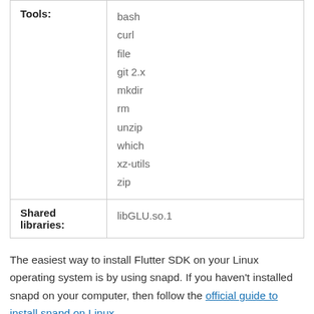|  |  |
| --- | --- |
| Tools: | bash
curl
file
git 2.x
mkdir
rm
unzip
which
xz-utils
zip |
| Shared libraries: | libGLU.so.1 |
The easiest way to install Flutter SDK on your Linux operating system is by using snapd. If you haven't installed snapd on your computer, then follow the official guide to install snapd on Linux.
After installation of snapd, you can use it to...